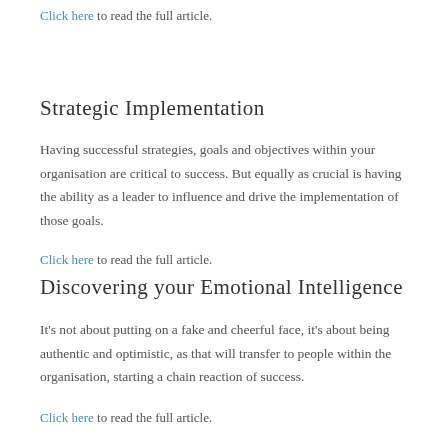Click here to read the full article.
Strategic Implementation
Having successful strategies, goals and objectives within your organisation are critical to success. But equally as crucial is having the ability as a leader to influence and drive the implementation of those goals.
Click here to read the full article.
Discovering your Emotional Intelligence
It's not about putting on a fake and cheerful face, it's about being authentic and optimistic, as that will transfer to people within the organisation, starting a chain reaction of success.
Click here to read the full article.